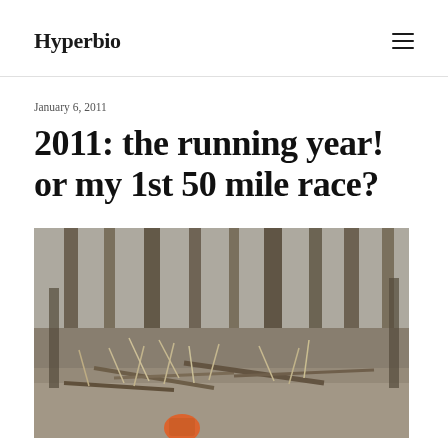Hyperbio
January 6, 2011
2011: the running year! or my 1st 50 mile race?
[Figure (photo): A forest trail scene with tall trees, fallen branches, and dry grass. A runner in orange is partially visible at the bottom of the image.]